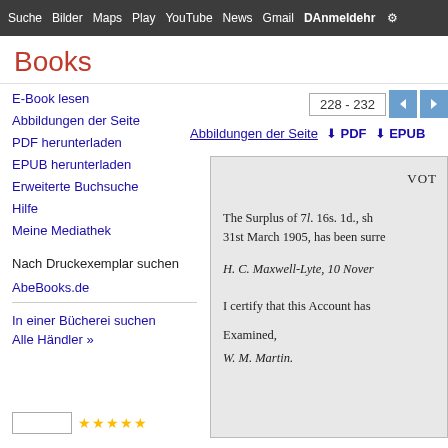Suche  Bilder  Maps  Play  YouTube  News  Gmail  Danmeldehr  ✦
Books
228 - 232
Abbildungen der Seite  ↓ PDF  ↓ EPUB
E-Book lesen
Abbildungen der Seite
PDF herunterladen
EPUB herunterladen
Erweiterte Buchsuche
Hilfe
Meine Mediathek
Nach Druckexemplar suchen
AbeBooks.de
In einer Bücherei suchen
Alle Händler »
[Figure (screenshot): Scanned book page showing partial text: VOT heading, 'The Surplus of 7l. 16s. 1d., sh... 31st March 1905, has been surre...', 'H. C. Maxwell-Lyte, 10 Nover...', 'I certify that this Account has', 'Examined,', 'W. M. Martin.']